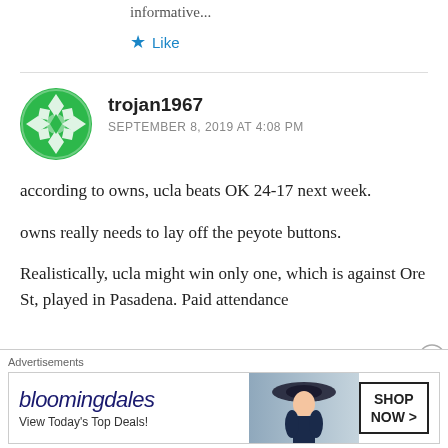informative...
★ Like
trojan1967
SEPTEMBER 8, 2019 AT 4:08 PM
according to owns, ucla beats OK 24-17 next week.
owns really needs to lay off the peyote buttons.
Realistically, ucla might win only one, which is against Ore St, played in Pasadena. Paid attendance
[Figure (screenshot): Bloomingdales advertisement banner with text 'bloomingdales', 'View Today's Top Deals!', and 'SHOP NOW >' button, with image of woman in hat]
Advertisements